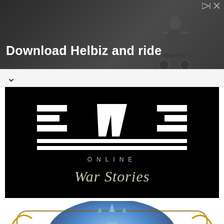[Figure (photo): Advertisement banner showing a person on a scooter/e-bike with text 'Download Helbiz and ride' on dark background]
[Figure (logo): EVE Online War Stories logo on black background. EVE logo rendered in geometric white bars, 'ONLINE' in spaced caps, 'War Stories' in decorative serif italic]
[Figure (logo): World of Warcraft logo with ornate golden lettering on blue icy background with decorative fantasy embellishments]